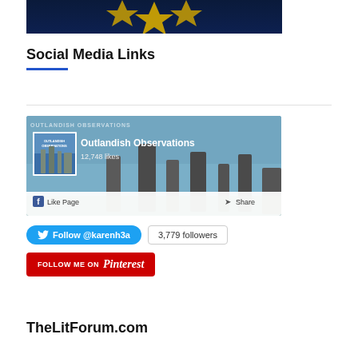[Figure (screenshot): Top portion of a dark navy banner with gold star graphic]
Social Media Links
[Figure (screenshot): Facebook page widget for Outlandish Observations showing 12,748 likes with Like Page and Share buttons, background shows standing stones landscape]
[Figure (screenshot): Twitter Follow @karenh3a button (blue rounded) with 3,779 followers count box]
[Figure (screenshot): Follow Me on Pinterest red button]
TheLitForum.com